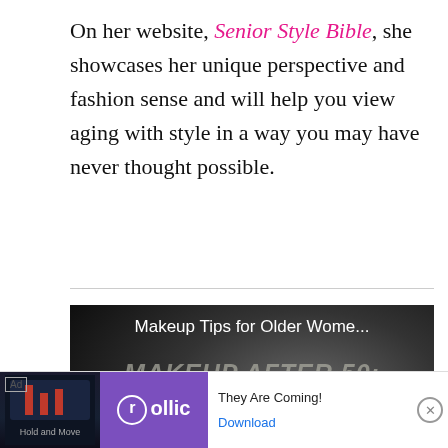On her website, Senior Style Bible, she showcases her unique perspective and fashion sense and will help you view aging with style in a way you may have never thought possible.
[Figure (screenshot): Video thumbnail showing 'Makeup Tips for Older Wome...' title at top, large stylized text 'MAKEUP AFTER 50: BB VS CC CREAMS' overlaid on a woman's face, with a play button in the center and two smaller video thumbnails at the bottom.]